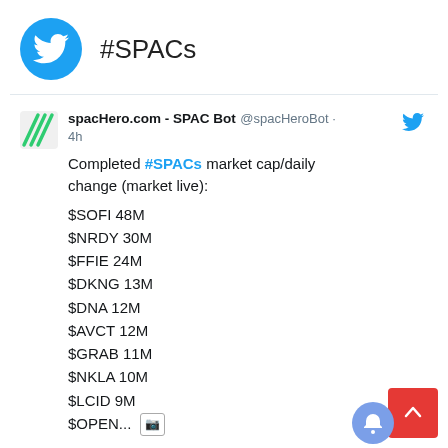#SPACs
spacHero.com - SPAC Bot @spacHeroBot · 4h
Completed #SPACs market cap/daily change (market live):
$SOFI 48M
$NRDY 30M
$FFIE 24M
$DKNG 13M
$DNA 12M
$AVCT 12M
$GRAB 11M
$NKLA 10M
$LCID 9M
$OPEN...